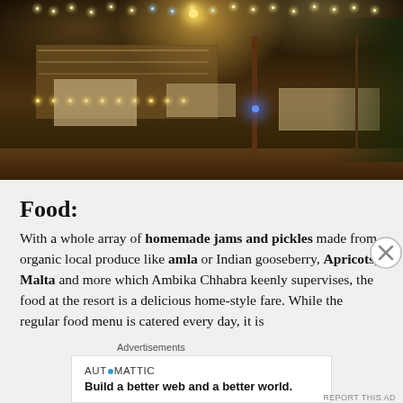[Figure (photo): Nighttime outdoor restaurant/resort seating area with string fairy lights overhead, rustic stone building with bar/shelving unit, wooden tables and chairs on a patio, lush greenery in background, warm amber and blue accent lighting.]
Food:
With a whole array of homemade jams and pickles made from organic local produce like amla or Indian gooseberry, Apricots, Malta and more which Ambika Chhabra keenly supervises, the food at the resort is a delicious home-style fare. While the regular food menu is catered every day, it is
Advertisements
[Figure (screenshot): Automattic advertisement box: 'AUT⊙MATTIC — Build a better web and a better world.']